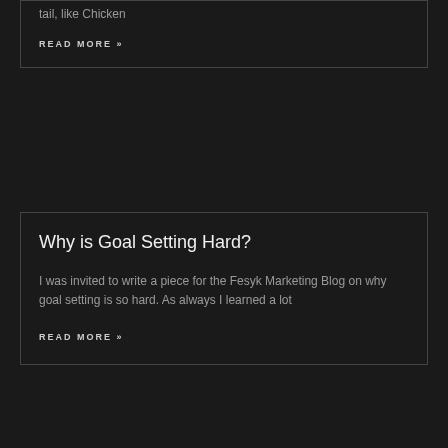tail, like Chicken
READ MORE »
Why is Goal Setting Hard?
I was invited to write a piece for the Fesyk Marketing Blog on why goal setting is so hard. As always I learned a lot
READ MORE »